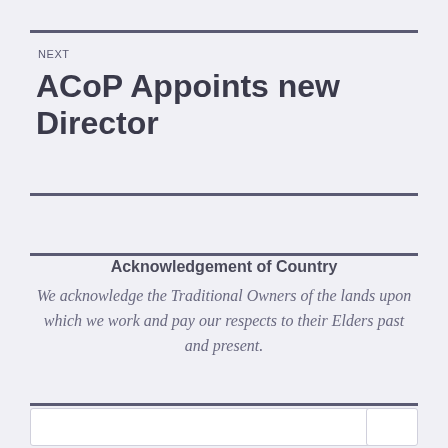NEXT
ACoP Appoints new Director
Acknowledgement of Country
We acknowledge the Traditional Owners of the lands upon which we work and pay our respects to their Elders past and present.